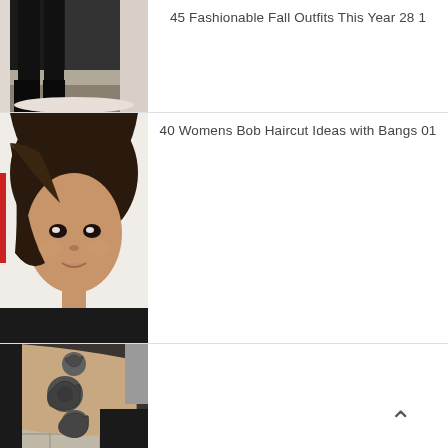[Figure (photo): Partial photo of a person's lower body in black outfit and boots, cropped at top]
45 Fashionable Fall Outfits This Year 28 1
[Figure (photo): Close-up photo of a woman with a short dark bob haircut with side-swept bangs]
40 Womens Bob Haircut Ideas with Bangs 01
[Figure (photo): Photo of a forearm tattoo featuring roses in black and grey]
^